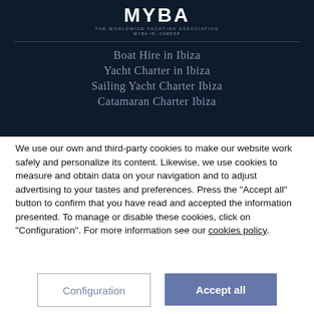[Figure (logo): MYBA logo - The Worldwide Yachting Association, MYBA ID: CH8DSP]
Boat Hire in Ibiza
Yacht Charter in Ibiza
Sailing Yacht Charter Ibiza
Catamaran Charter Ibiza
We use our own and third-party cookies to make our website work safely and personalize its content. Likewise, we use cookies to measure and obtain data on your navigation and to adjust advertising to your tastes and preferences. Press the "Accept all" button to confirm that you have read and accepted the information presented. To manage or disable these cookies, click on "Configuration". For more information see our cookies policy.
Configuration
Accept all